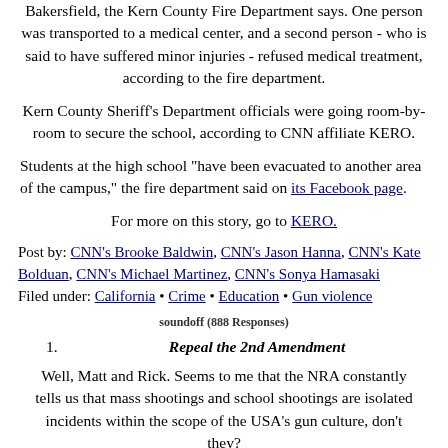Bakersfield, the Kern County Fire Department says. One person was transported to a medical center, and a second person - who is said to have suffered minor injuries - refused medical treatment, according to the fire department.
Kern County Sheriff's Department officials were going room-by-room to secure the school, according to CNN affiliate KERO.
Students at the high school "have been evacuated to another area of the campus," the fire department said on its Facebook page.
For more on this story, go to KERO.
Post by: CNN's Brooke Baldwin, CNN's Jason Hanna, CNN's Kate Bolduan, CNN's Michael Martinez, CNN's Sonya Hamasaki
Filed under: California • Crime • Education • Gun violence
soundoff (888 Responses)
1. Repeal the 2nd Amendment
Well, Matt and Rick. Seems to me that the NRA constantly tells us that mass shootings and school shootings are isolated incidents within the scope of the USA's gun culture, don't they?